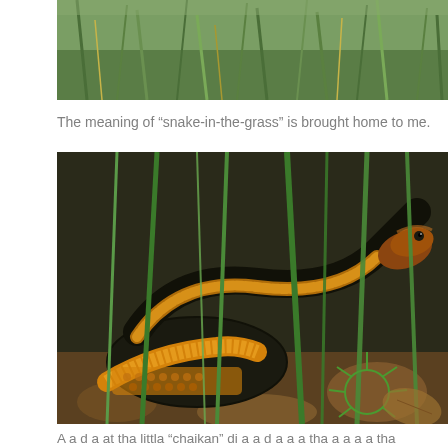[Figure (photo): Close-up photograph of grass and green vegetation, partial view (top portion cropped).]
The meaning of “snake-in-the-grass” is brought home to me.
[Figure (photo): Close-up photograph of a black and orange/yellow patterned snake (appears to be a garter snake or water snake) coiled among green grass blades and dried leaves on the ground.]
A a d a at tha littla “chaikan” dia a d a a a tha a a a a tha